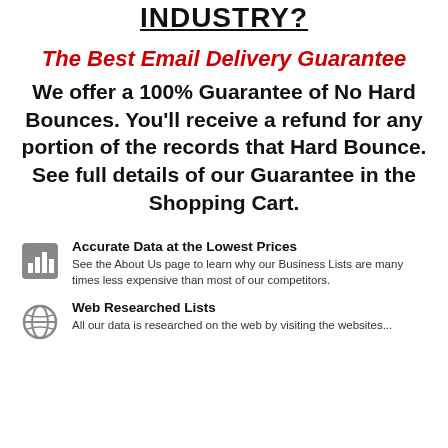INDUSTRY?
The Best Email Delivery Guarantee
We offer a 100% Guarantee of No Hard Bounces. You’ll receive a refund for any portion of the records that Hard Bounce. See full details of our Guarantee in the Shopping Cart.
Accurate Data at the Lowest Prices
See the About Us page to learn why our Business Lists are many times less expensive than most of our competitors.
Web Researched Lists
All our data is researched on the web by visiting the websites...